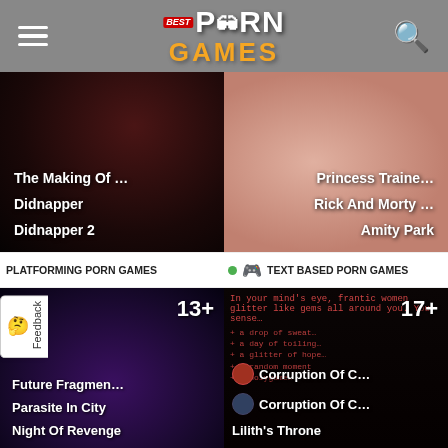Best Porn Games - website header with logo, hamburger menu and search icon
[Figure (screenshot): Two game thumbnail images side by side: left dark photorealistic style showing 'The Making Of...', 'Didnapper', 'Didnapper 2'; right anime style showing 'Princess Traine...', 'Rick And Morty...', 'Amity Park']
PLATFORMING PORN GAMES
TEXT BASED PORN GAMES
[Figure (screenshot): Two game thumbnail images side by side: left purple/dark fantasy showing '13+', 'Future Fragmen...', 'Parasite In City', 'Night Of Revenge'; right dark text-based game showing '17+', 'Corruption Of C...', 'Corruption Of C...', 'Lilith's Throne']
ggbases.com
631+ Best Porn Games
10+ Porn Games Torrents